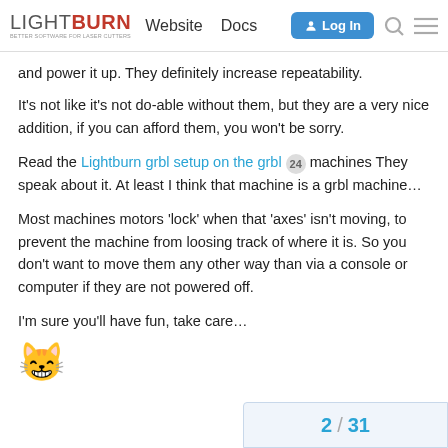LIGHTBURN | Website | Docs | Log In
and power it up. They definitely increase repeatability.
It's not like it's not do-able without them, but they are a very nice addition, if you can afford them, you won't be sorry.
Read the Lightburn grbl setup on the grbl [24] machines They speak about it. At least I think that machine is a grbl machine…
Most machines motors 'lock' when that 'axes' isn't moving, to prevent the machine from loosing track of where it is. So you don't want to move them any other way than via a console or computer if they are not powered off.
I'm sure you'll have fun, take care…
[Figure (illustration): Grinning cat emoji 😸]
2 / 31